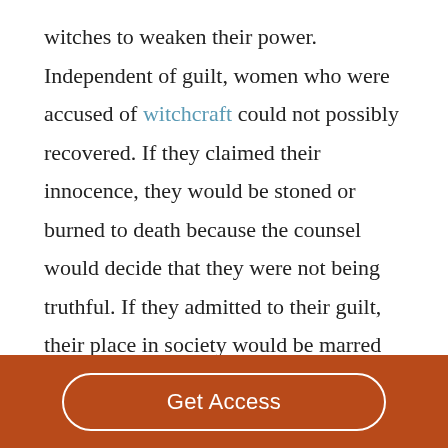witches to weaken their power. Independent of guilt, women who were accused of witchcraft could not possibly recovered. If they claimed their innocence, they would be stoned or burned to death because the counsel would decide that they were not being truthful. If they admitted to their guilt, their place in society would be marred and they would be embarrassed for partaking in these evil acts. Through this violence, men have been
Get Access